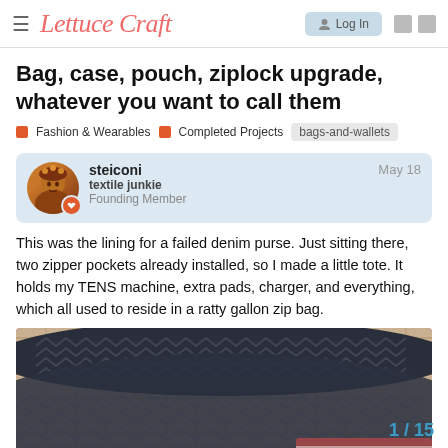Lettuce Craft — Log In
Bag, case, pouch, ziplock upgrade, whatever you want to call them
Fashion & Wearables   Completed Projects   bags-and-wallets
steiconi   textile junkie   Founding Member   May 18
This was the lining for a failed denim purse. Just sitting there, two zipper pockets already installed, so I made a little tote. It holds my TENS machine, extra pads, charger, and everything, which all used to reside in a ratty gallon zip bag.
[Figure (photo): Photo of a handmade tote bag with navy blue herringbone/chevron pattern fabric, shown on a rustic background]
1 / 15